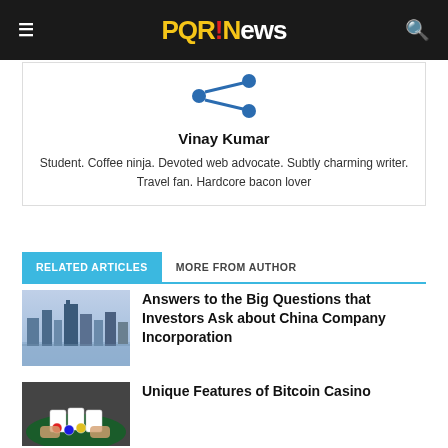PQR!News
[Figure (logo): Author avatar icon: blue figure silhouette with arrow/share graphic]
Vinay Kumar
Student. Coffee ninja. Devoted web advocate. Subtly charming writer. Travel fan. Hardcore bacon lover
RELATED ARTICLES   MORE FROM AUTHOR
[Figure (photo): City skyline photo with river and tall buildings at dusk/sunset]
Answers to the Big Questions that Investors Ask about China Company Incorporation
[Figure (photo): Casino table with cards and chips, hands of players visible]
Unique Features of Bitcoin Casino